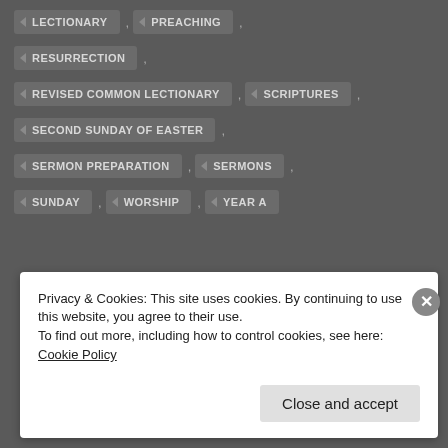LECTIONARY , PREACHING ,
RESURRECTION ,
REVISED COMMON LECTIONARY , SCRIPTURES ,
SECOND SUNDAY OF EASTER ,
SERMON PREPARATION , SERMONS ,
SUNDAY , WORSHIP , YEAR A
Privacy & Cookies: This site uses cookies. By continuing to use this website, you agree to their use.
To find out more, including how to control cookies, see here: Cookie Policy
Close and accept